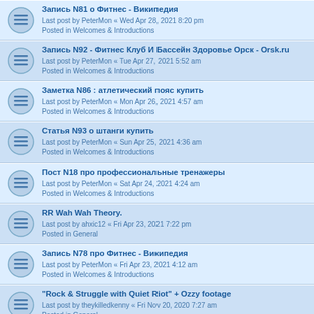Запись N81 о Фитнес - Википедия
Last post by PeterMon « Wed Apr 28, 2021 8:20 pm
Posted in Welcomes & Introductions
Запись N92 - Фитнес Клуб И Бассейн Здоровье Орск - Orsk.ru
Last post by PeterMon « Tue Apr 27, 2021 5:52 am
Posted in Welcomes & Introductions
Заметка N86 : атлетический пояс купить
Last post by PeterMon « Mon Apr 26, 2021 4:57 am
Posted in Welcomes & Introductions
Статья N93 о штанги купить
Last post by PeterMon « Sun Apr 25, 2021 4:36 am
Posted in Welcomes & Introductions
Пост N18 про профессиональные тренажеры
Last post by PeterMon « Sat Apr 24, 2021 4:24 am
Posted in Welcomes & Introductions
RR Wah Wah Theory.
Last post by ahxic12 « Fri Apr 23, 2021 7:22 pm
Posted in General
Запись N78 про Фитнес - Википедия
Last post by PeterMon « Fri Apr 23, 2021 4:12 am
Posted in Welcomes & Introductions
"Rock & Struggle with Quiet Riot" + Ozzy footage
Last post by theykilledkenny « Fri Nov 20, 2020 7:27 am
Posted in General